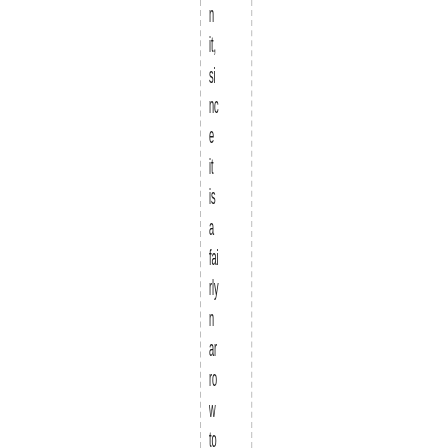n it, since it is a fairly narrow tool. I use and make a lot of fai